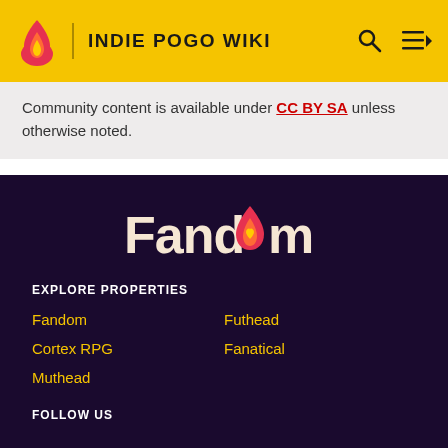INDIE POGO WIKI
Community content is available under CC BY SA unless otherwise noted.
[Figure (logo): Fandom logo with flame icon and heart, white text on dark purple background]
EXPLORE PROPERTIES
Fandom
Futhead
Cortex RPG
Fanatical
Muthead
FOLLOW US